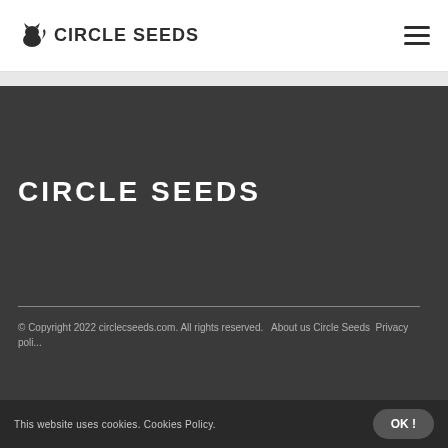CIRCLE SEEDS
CIRCLE SEEDS
© Copyright 2022 circlecseeds.com. All rights reserved.  About us Circle Seeds  Privacy poli...
This website uses cookies. Cookies Policy.  OK !